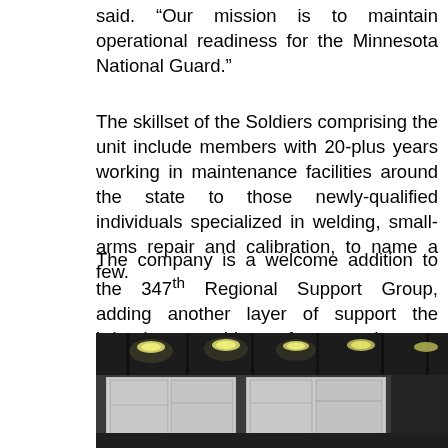said. “Our mission is to maintain operational readiness for the Minnesota National Guard.”
The skillset of the Soldiers comprising the unit include members with 20-plus years working in maintenance facilities around the state to those newly-qualified individuals specialized in welding, small-arms repair and calibration, to name a few.
The company is a welcome addition to the 347th Regional Support Group, adding another layer of support the brigade provides for contingency operations to include life support for base operations in addition to administrative, medical and logistical support.
[Figure (photo): Interior of a maintenance facility or hangar with dark ceiling, overhead lights, and large garage/bay doors visible in the background.]